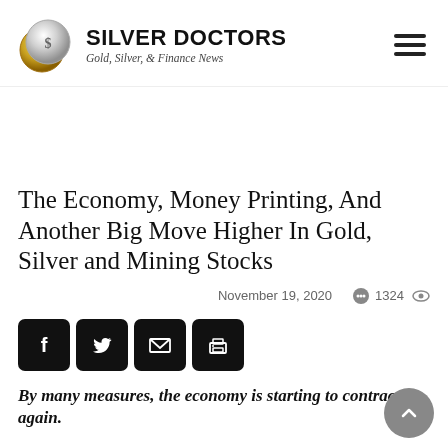SILVER DOCTORS — Gold, Silver, & Finance News
The Economy, Money Printing, And Another Big Move Higher In Gold, Silver and Mining Stocks
November 19, 2020   1324
[Figure (other): Social sharing icons: Facebook, Twitter, Email, Print]
By many measures, the economy is starting to contract again.